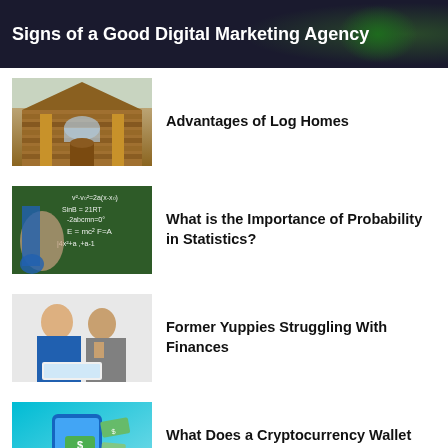Signs of a Good Digital Marketing Agency
[Figure (photo): Log cabin / log home exterior with wooden pillars and arched windows]
Advantages of Log Homes
[Figure (photo): Person writing mathematical formulas on a chalkboard]
What is the Importance of Probability in Statistics?
[Figure (photo): Two young people studying together, looking at a laptop]
Former Yuppies Struggling With Finances
[Figure (photo): Hand holding a smartphone with cryptocurrency wallet app and money icons on teal background]
What Does a Cryptocurrency Wallet do?